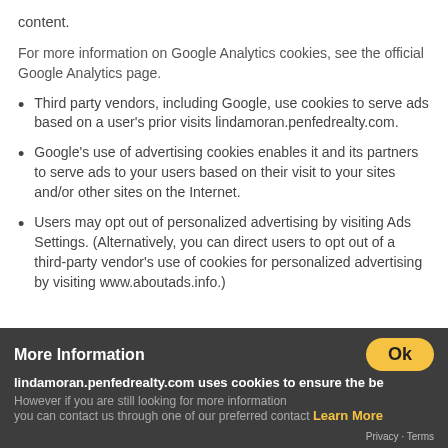content.
For more information on Google Analytics cookies, see the official Google Analytics page.
Third party vendors, including Google, use cookies to serve ads based on a user's prior visits lindamoran.penfedrealty.com.
Google's use of advertising cookies enables it and its partners to serve ads to your users based on their visit to your sites and/or other sites on the Internet.
Users may opt out of personalized advertising by visiting Ads Settings. (Alternatively, you can direct users to opt out of a third-party vendor's use of cookies for personalized advertising by visiting www.aboutads.info.)
More Information
lindamoran.penfedrealty.com uses cookies to ensure the be
However if you are still looking for more information you can contact us through one of our preferred contact
Learn More
Privacy · Terms